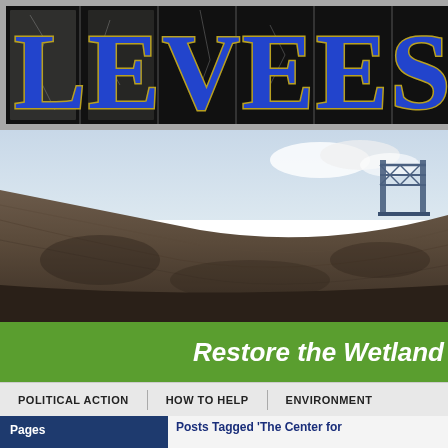[Figure (logo): LEVEES website logo with large blue block letters on dark cracked tile background]
[Figure (photo): Close-up photo of a large concrete/earthen levee wall with a bridge structure visible in the upper right background against a cloudy sky]
Restore the Wetland
POLITICAL ACTION   HOW TO HELP   ENVIRONMENT
Pages
News Archive
Posts Tagged 'The Center for
Tom Piazza on Writing for HBO's
Tuesday, December 20th, 2011